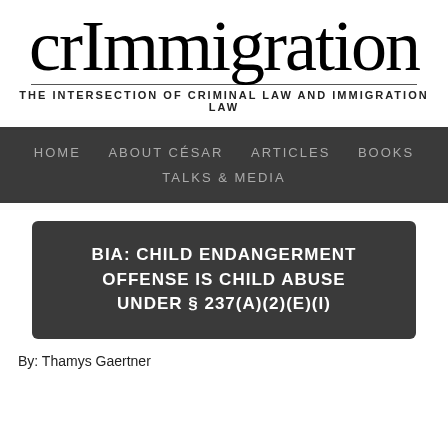crImmigration
THE INTERSECTION OF CRIMINAL LAW AND IMMIGRATION LAW
HOME   ABOUT CÉSAR   ARTICLES   BOOKS   TALKS & MEDIA
BIA: CHILD ENDANGERMENT OFFENSE IS CHILD ABUSE UNDER § 237(A)(2)(E)(I)
By: Thamys Gaertner